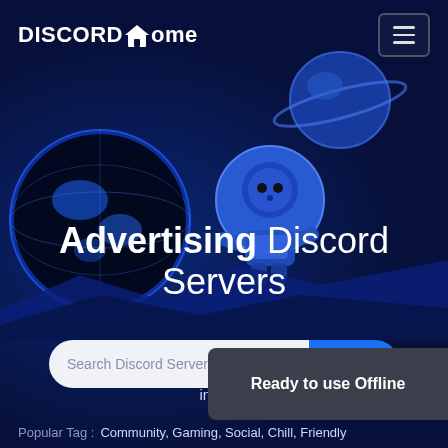[Figure (screenshot): Discord Home website hero section with a blue space-themed background featuring a cartoon astronaut robot and planet Earth illustration]
DISCORD Home
Advertising Discord Servers
The one stop spot for advertising servers! Find awesome advertising servers for your interest
Search Discord Servers...
Ready to use Offline
Popular Tag : Community, Gaming, Social, Chill, Friendly